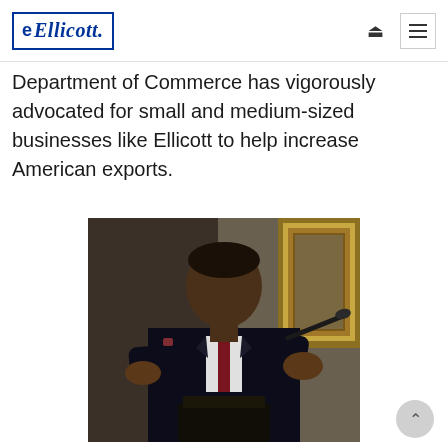Ellicott (logo)
Department of Commerce has vigorously advocated for small and medium-sized businesses like Ellicott to help increase American exports.
[Figure (photo): A man in a dark suit speaking at a podium with a microphone, gesturing with his hands. A gold-framed painting is visible in the background.]